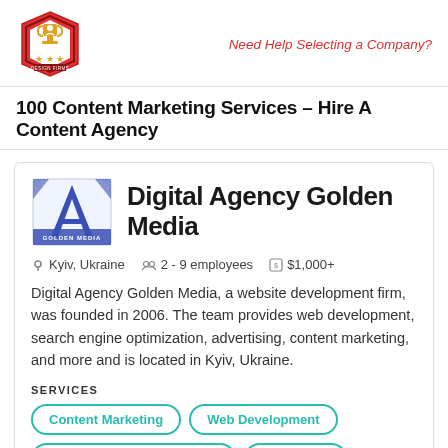[Figure (logo): Top Design Firms logo - red hexagon badge with trophy icon]
Need Help Selecting a Company?
100 Content Marketing Services – Hire A Content Agency
[Figure (logo): Digital Agency Golden Media logo - blue A icon with Golden Media text]
Digital Agency Golden Media
Kyiv, Ukraine   2 - 9 employees   $1,000+
Digital Agency Golden Media, a website development firm, was founded in 2006. The team provides web development, search engine optimization, advertising, content marketing, and more and is located in Kyiv, Ukraine.
SERVICES
Content Marketing
Web Development
Search Engine Optimization
Advertising